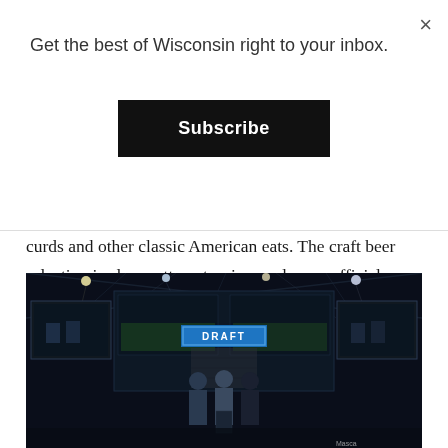Get the best of Wisconsin right to your inbox.
Subscribe
curds and other classic American eats. The craft beer selection is also pretty extensive, and as an official Milwaukee Bucks bar, the space has large TV's perched throughout the venue, along with a 120-in. projection screen. For more information, visit www.whosonthirdmke.com.
[Figure (photo): NFL Draft stage with three presenters standing at a podium in front of large LED screens displaying the DRAFT logo, surrounded by dramatic lighting in a dark arena setting.]